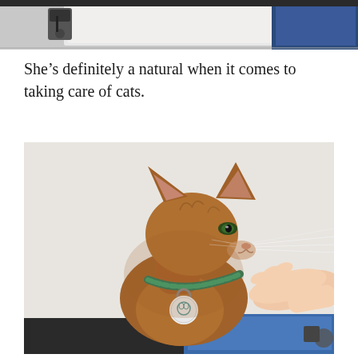[Figure (photo): Top portion of a photo showing a cat on a blue towel with grooming equipment, partially cropped at the top of the page.]
She’s definitely a natural when it comes to taking care of cats.
[Figure (photo): An Abyssinian cat with a teal/green braided collar and a round tag, sitting upright in profile view facing left, with a human hand gently holding its chest. The cat has large ears, amber eyes, and golden-brown ticked fur. Background is light gray/white, with a blue towel visible on a grooming table.]